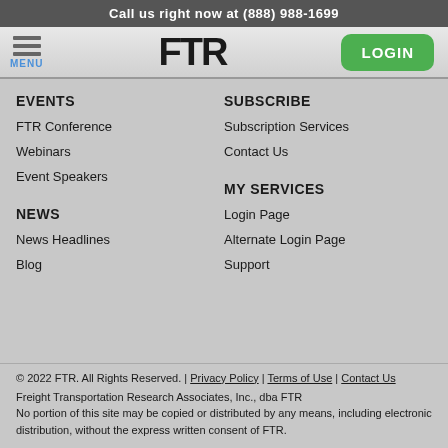Call us right now at (888) 988-1699
[Figure (screenshot): FTR website navigation bar with hamburger menu icon, FTR logo, and green LOGIN button]
EVENTS
FTR Conference
Webinars
Event Speakers
SUBSCRIBE
Subscription Services
Contact Us
MY SERVICES
NEWS
News Headlines
Blog
Login Page
Alternate Login Page
Support
© 2022 FTR. All Rights Reserved. | Privacy Policy | Terms of Use | Contact Us
Freight Transportation Research Associates, Inc., dba FTR
No portion of this site may be copied or distributed by any means, including electronic distribution, without the express written consent of FTR.